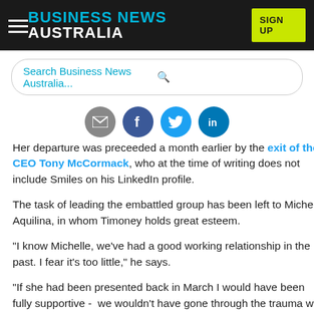BUSINESS NEWS AUSTRALIA | SIGN UP
Search Business News Australia...
[Figure (other): Social share icons: email, Facebook, Twitter, LinkedIn]
Her departure was preceeded a month earlier by the exit of then CEO Tony McCormack, who at the time of writing does not include Smiles on his LinkedIn profile.
The task of leading the embattled group has been left to Michelle Aquilina, in whom Timoney holds great esteem.
"I know Michelle, we've had a good working relationship in the past. I fear it's too little," he says.
"If she had been presented back in March I would have been fully supportive -  we wouldn't have gone through the trauma we have had.
"I think it would be the biggest miracle on the planet if they